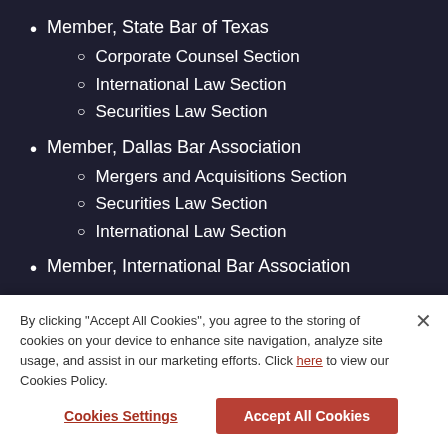Member, State Bar of Texas
Corporate Counsel Section
International Law Section
Securities Law Section
Member, Dallas Bar Association
Mergers and Acquisitions Section
Securities Law Section
International Law Section
Member, International Bar Association
Former President and Executive Committee
By clicking "Accept All Cookies", you agree to the storing of cookies on your device to enhance site navigation, analyze site usage, and assist in our marketing efforts. Click here to view our Cookies Policy.
Cookies Settings
Accept All Cookies